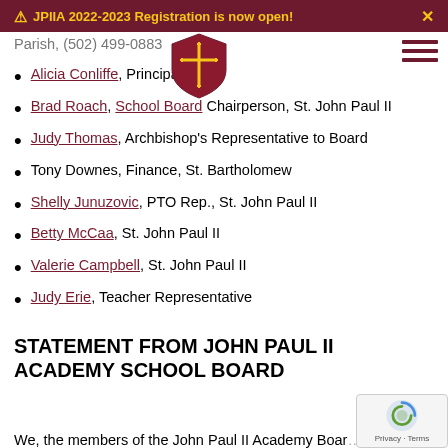⚠ JPIIA 2022-2023 Registration is now open!
Parish, (502) 499-0883
Alicia Conliffe, Principal
Brad Roach, School Board Chairperson, St. John Paul II
Judy Thomas, Archbishop's Representative to Board
Tony Downes, Finance, St. Bartholomew
Shelly Junuzovic, PTO Rep., St. John Paul II
Betty McCaa, St. John Paul II
Valerie Campbell, St. John Paul II
Judy Erie, Teacher Representative
STATEMENT FROM JOHN PAUL II ACADEMY SCHOOL BOARD
We, the members of the John Paul II Academy Boar...